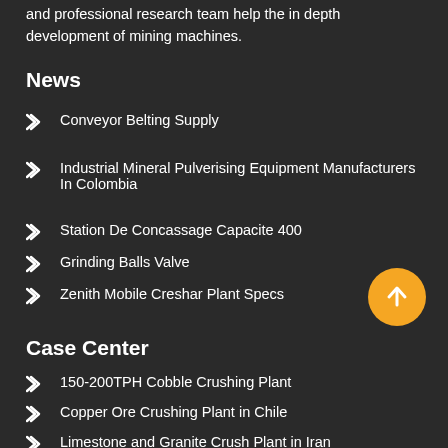and professional research team help the in depth development of mining machines.
News
Conveyor Belting Supply
Industrial Mineral Pulverising Equipment Manufacturers In Colombia
Station De Concassage Capacite 400
Grinding Balls Valve
Zenith Mobile Creshar Plant Specs
Case Center
150-200TPH Cobble Crushing Plant
Copper Ore Crushing Plant in Chile
Limestone and Granite Crush Plant in Iran
Rod Mill Grinding Line in China